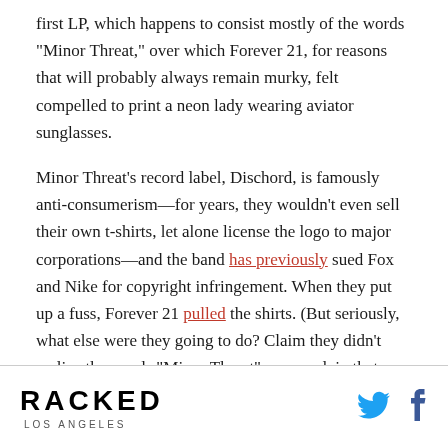first LP, which happens to consist mostly of the words "Minor Threat," over which Forever 21, for reasons that will probably always remain murky, felt compelled to print a neon lady wearing aviator sunglasses.
Minor Threat's record label, Dischord, is famously anti-consumerism—for years, they wouldn't even sell their own t-shirts, let alone license the logo to major corporations—and the band has previously sued Fox and Nike for copyright infringement. When they put up a fuss, Forever 21 pulled the shirts. (But seriously, what else were they going to do? Claim they didn't realize the words "Minor Threat" appeared, in that order, in the design?)
RACKED LOS ANGELES